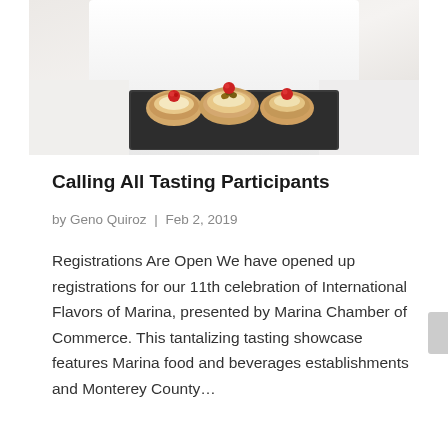[Figure (photo): A chef in white uniform holding a dark slate board with cream puffs or pastries topped with raspberries and nuts]
Calling All Tasting Participants
by Geno Quiroz | Feb 2, 2019
Registrations Are Open We have opened up registrations for our 11th celebration of International Flavors of Marina, presented by Marina Chamber of Commerce. This tantalizing tasting showcase features Marina food and beverages establishments and Monterey County…